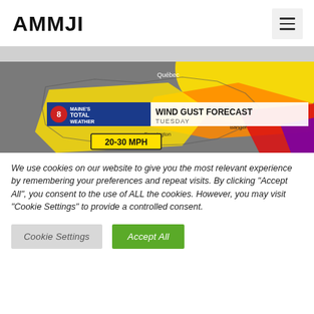AMMJI
[Figure (screenshot): Maine's Total Weather wind gust forecast map for Tuesday showing 20-30 MPH winds, with colored regions over Maine including yellow, orange, red, and purple zones. Quebec labeled at top. Text reads: WIND GUST FORECAST TUESDAY, 20-30 MPH.]
We use cookies on our website to give you the most relevant experience by remembering your preferences and repeat visits. By clicking “Accept All”, you consent to the use of ALL the cookies. However, you may visit "Cookie Settings" to provide a controlled consent.
Cookie Settings   Accept All